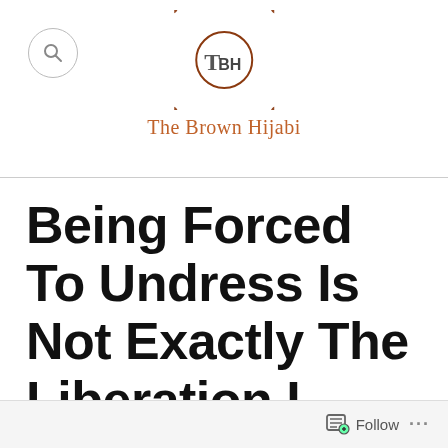The Brown Hijabi
Being Forced To Undress Is Not Exactly The Liberation I Have Longed For
Follow